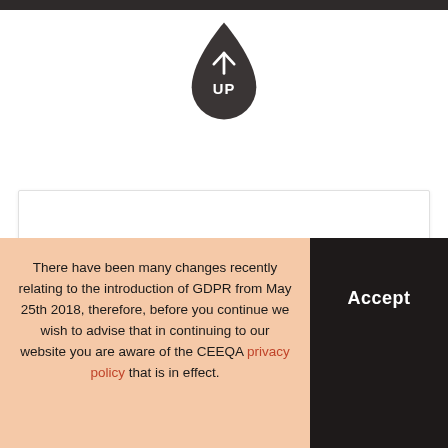[Figure (logo): Dark teardrop/droplet shape logo with upward arrow and text 'UP' in white, centered on the page upper half]
Insight
There have been many changes recently relating to the introduction of GDPR from May 25th 2018, therefore, before you continue we wish to advise that in continuing to our website you are aware of the CEEQA privacy policy that is in effect.
Accept